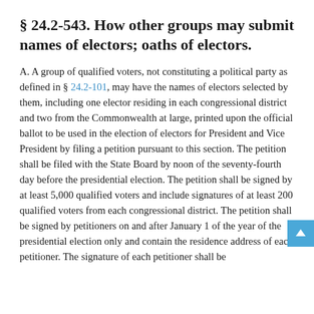§ 24.2-543. How other groups may submit names of electors; oaths of electors.
A. A group of qualified voters, not constituting a political party as defined in § 24.2-101, may have the names of electors selected by them, including one elector residing in each congressional district and two from the Commonwealth at large, printed upon the official ballot to be used in the election of electors for President and Vice President by filing a petition pursuant to this section. The petition shall be filed with the State Board by noon of the seventy-fourth day before the presidential election. The petition shall be signed by at least 5,000 qualified voters and include signatures of at least 200 qualified voters from each congressional district. The petition shall be signed by petitioners on and after January 1 of the year of the presidential election only and contain the residence address of each petitioner. The signature of each petitioner shall be